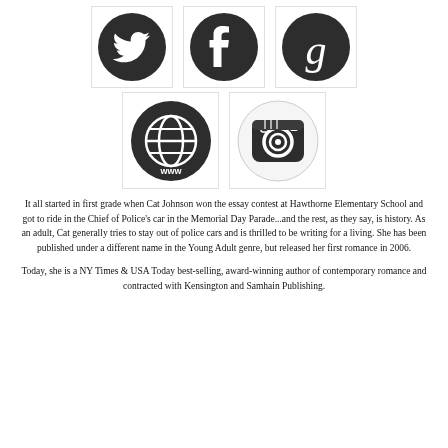[Figure (illustration): Row of three social media icons: Twitter (bird), Facebook (f), and Goodreads (g) — all dark circular logos]
[Figure (illustration): Row of two social media icons: Website/WWW globe and Instagram camera — all dark circular logos]
It all started in first grade when Cat Johnson won the essay contest at Hawthorne Elementary School and got to ride in the Chief of Police's car in the Memorial Day Parade...and the rest, as they say, is history. As an adult, Cat generally tries to stay out of police cars and is thrilled to be writing for a living. She has been published under a different name in the Young Adult genre, but released her first romance in 2006.
Today, she is a NY Times & USA Today best-selling, award-winning author of contemporary romance and contracted with Kensington and Samhain Publishing.